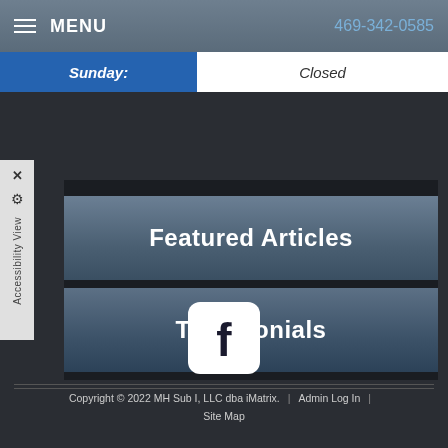MENU   469-342-0585
Sunday:   Closed
Accessibility View
Featured Articles
Testimonials
[Figure (logo): Facebook logo icon - white f on white rounded square background]
Copyright © 2022 MH Sub I, LLC dba iMatrix.   |   Admin Log In   |   Site Map